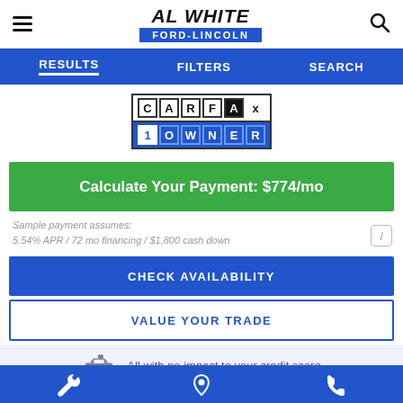AL WHITE FORD-LINCOLN
RESULTS   FILTERS   SEARCH
[Figure (logo): CARFAX 1 OWNER badge logo]
Calculate Your Payment: $774/mo
Sample payment assumes:
5.54% APR / 72 mo financing / $1,800 cash down
CHECK AVAILABILITY
VALUE YOUR TRADE
All with no impact to your credit score
Wrench icon | Location pin icon | Phone icon